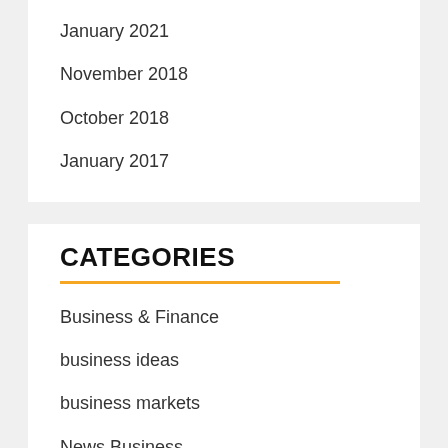January 2021
November 2018
October 2018
January 2017
CATEGORIES
Business & Finance
business ideas
business markets
News Business
SEO marketing
traffic finance